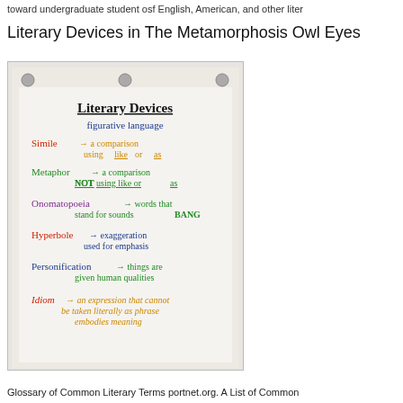toward undergraduate student osf English, American, and other liter
Literary Devices in The Metamorphosis Owl Eyes
[Figure (photo): A classroom anchor chart pinned to a board titled 'Literary Devices' listing figurative language terms: Simile (a comparison using like or as), Metaphor (a comparison NOT using like or as), Onomatopoeia (words that stand for sounds BANG), Hyperbole (exaggeration used for emphasis), Personification (things are given human qualities), Idiom (an expression that cannot be taken literally).]
Glossary of Common Literary Terms portnet.org. A List of Common